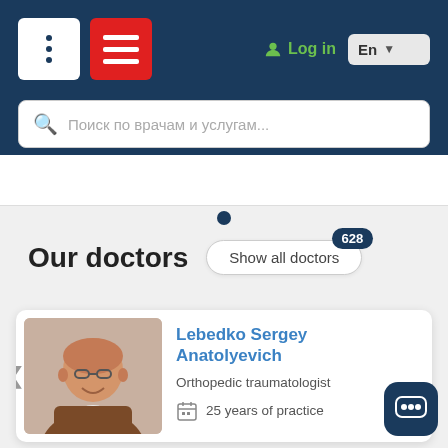[Figure (screenshot): Navigation header with dots icon, red hamburger menu icon, green Log in button with person icon, and En language selector with dropdown]
[Figure (screenshot): Search bar with Russian placeholder text: Поиск по врачам и услугам...]
Our doctors
Show all doctors 628
Lebedko Sergey Anatolyevich
Orthopedic traumatologist
25 years of practice